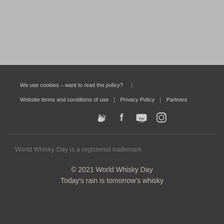[Figure (photo): Gray/image area at top of page]
We use cookies – want to read the policy?
Website terms and conditions of use  |  Privacy Policy  |  Partners
[Figure (other): Social media icons: Twitter, Facebook, YouTube, Instagram]
World Whisky Day is a registered trademark
© 2021 World Whisky Day
Today's rain is tomorrow's whisky